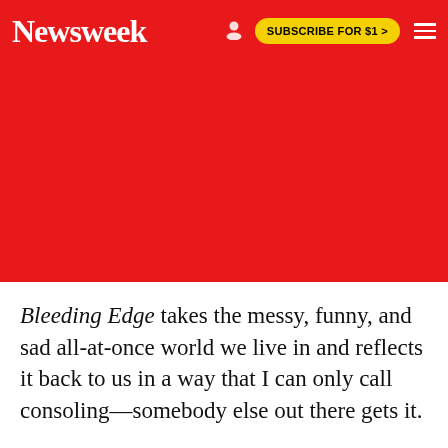Newsweek | SUBSCRIBE FOR $1 >
[Figure (other): Red background advertisement area below the Newsweek navigation header]
Bleeding Edge takes the messy, funny, and sad all-at-once world we live in and reflects it back to us in a way that I can only call consoling—somebody else out there gets it.